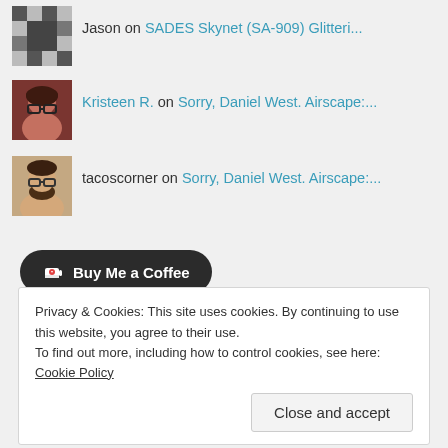Jason on SADES Skynet (SA-909) Glitteri...
Kristeen R. on Sorry, Daniel West. Airscape:....
tacoscorner on Sorry, Daniel West. Airscape:....
[Figure (illustration): Buy Me a Coffee button widget with dark rounded background]
Privacy & Cookies: This site uses cookies. By continuing to use this website, you agree to their use. To find out more, including how to control cookies, see here: Cookie Policy
Close and accept